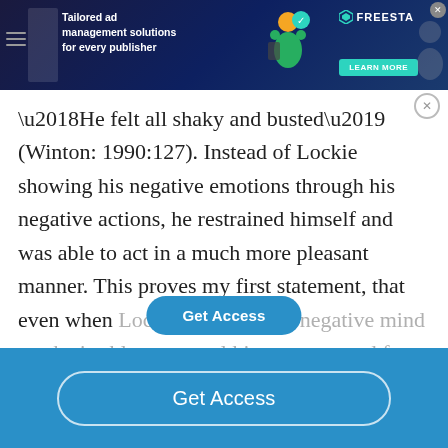[Figure (screenshot): Advertisement banner: dark blue background with text 'Tailored ad management solutions for every publisher', FREESTA logo with teal icon, green 'LEARN MORE' button, decorative illustration with person figure, close button]
'He felt all shaky and busted' (Winton: 1990:127). Instead of Lockie showing his negative emotions through his negative actions, he restrained himself and was able to act in a much more pleasant manner. This proves my first statement, that even when Lockie is found in a negative mind set, he is able to control hi[s mind a]nd force himself
[Figure (other): 'Get Access' overlay button in teal/blue rounded pill shape]
[Figure (other): Blue bottom bar with 'Get Access' button in white rounded outline]